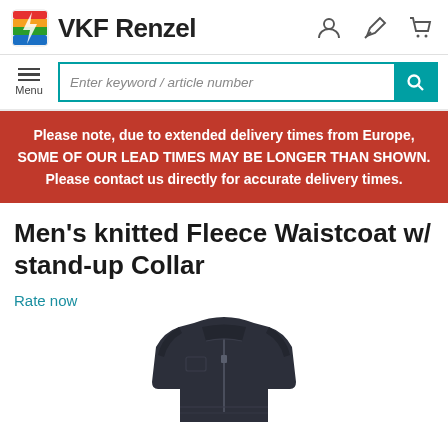VKF Renzel
Enter keyword / article number
Please note, due to extended delivery times from Europe, SOME OF OUR LEAD TIMES MAY BE LONGER THAN SHOWN. Please contact us directly for accurate delivery times.
Men's knitted Fleece Waistcoat w/ stand-up Collar
Rate now
[Figure (photo): A dark navy/charcoal men's knitted fleece waistcoat with stand-up collar and front zipper, shown from the front, cropped at waist level.]